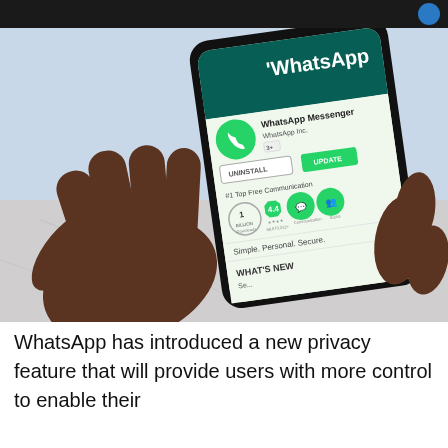[Figure (photo): A hand holding a smartphone displaying the WhatsApp Messenger page on Google Play Store. The screen shows the WhatsApp app listing with UNINSTALL and UPDATE buttons, a 4.4 star rating badge, 1 Billion Downloads badge, Top Free Communication #1 badge, and the tagline 'Simple. Personal. Secure.' and 'WHAT'S NEW' section.]
WhatsApp has introduced a new privacy feature that will provide users with more control to enable their